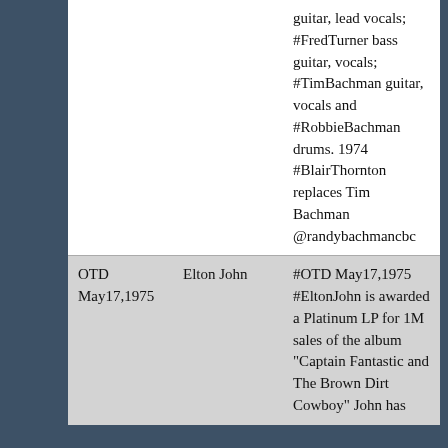| Date | Artist | Text |
| --- | --- | --- |
|  |  | guitar, lead vocals; #FredTurner bass guitar, vocals; #TimBachman guitar, vocals and #RobbieBachman drums. 1974 #BlairThornton replaces Tim Bachman @randybachmancbc |
| OTD May17,1975 | Elton John | #OTD May17,1975 #EltonJohn is awarded a Platinum LP for 1M sales of the album "Captain Fantastic and The Brown Dirt Cowboy" John has |